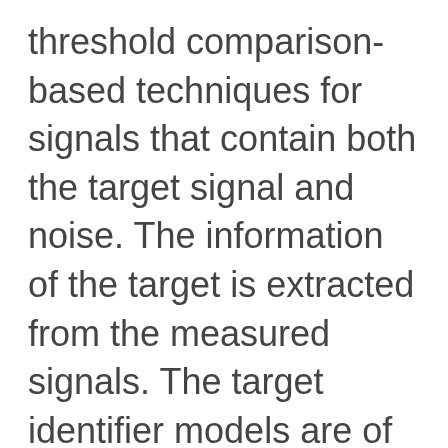threshold comparison-based techniques for signals that contain both the target signal and noise. The information of the target is extracted from the measured signals. The target identifier models are of various types in terms of use, ranging from simple binary classifiers to models